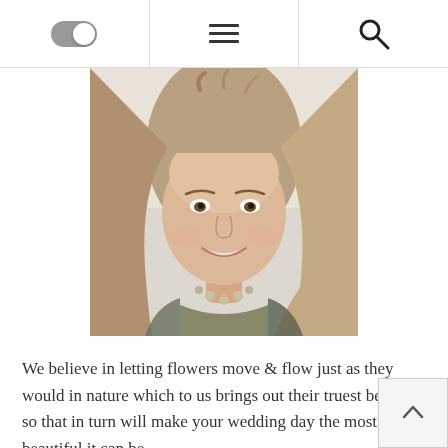[Figure (other): Website navigation bar with toggle switch on left, hamburger menu in center, and search icon on right]
[Figure (photo): Portrait photo of a smiling young woman with long blonde hair, wearing a necklace, against a soft light background]
We believe in letting flowers move & flow just as they would in nature which to us brings out their truest beauty- so that in turn will make your wedding day the most beautiful it can be.